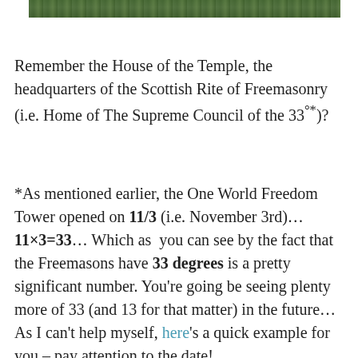[Figure (photo): Partial view of a green outdoor scene, likely aerial or landscape photo strip at top of page]
Remember the House of the Temple, the headquarters of the Scottish Rite of Freemasonry (i.e. Home of The Supreme Council of the 33°*)?
*As mentioned earlier, the One World Freedom Tower opened on 11/3 (i.e. November 3rd)… 11×3=33… Which as you can see by the fact that the Freemasons have 33 degrees is a pretty significant number. You're going be seeing plenty more of 33 (and 13 for that matter) in the future… As I can't help myself, here's a quick example for you – pay attention to the date!